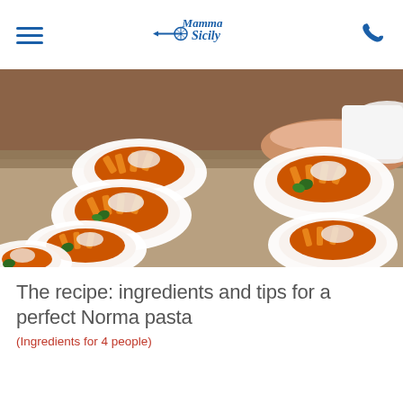Mamma Sicily
[Figure (photo): A chef's hands plating multiple white bowls filled with pasta alla Norma (penne with tomato sauce, eggplant, ricotta, and basil) on a restaurant table.]
The recipe: ingredients and tips for a perfect Norma pasta
(Ingredients for 4 people)